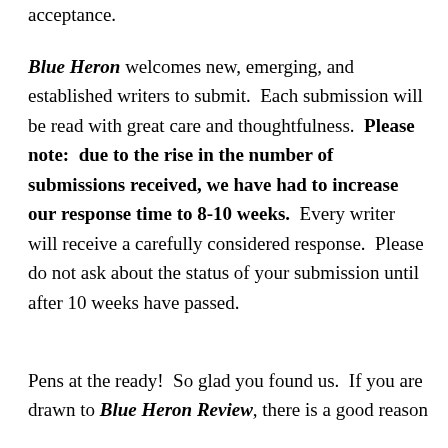acceptance.
Blue Heron welcomes new, emerging, and established writers to submit.  Each submission will be read with great care and thoughtfulness.  Please note:  due to the rise in the number of submissions received, we have had to increase our response time to 8-10 weeks.  Every writer will receive a carefully considered response.  Please do not ask about the status of your submission until after 10 weeks have passed.
Pens at the ready!  So glad you found us.  If you are drawn to Blue Heron Review, there is a good reason